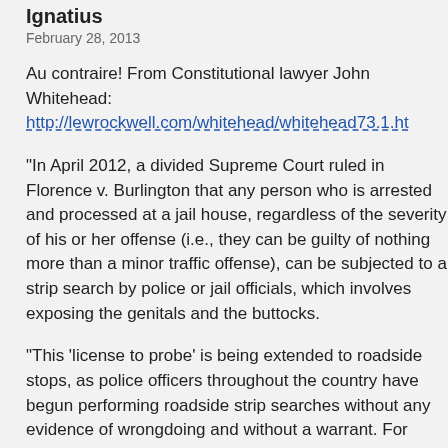Ignatius
February 28, 2013
Au contraire! From Constitutional lawyer John Whitehead: http://lewrockwell.com/whitehead/whitehead73.1.ht
"In April 2012, a divided Supreme Court ruled in Florence v. Burlington that any person who is arrested and processed at a jail house, regardless of the severity of his or her offense (i.e., they can be guilty of nothing more than a minor traffic offense), can be subjected to a strip search by police or jail officials, which involves exposing the genitals and the buttocks.
"This 'license to probe' is being extended to roadside stops, as police officers throughout the country have begun performing roadside strip searches without any evidence of wrongdoing and without a warrant. For example, Angel Dobbs and her niece, who were pulled over by a Texas state trooper on July 13, 2012, allegedly for